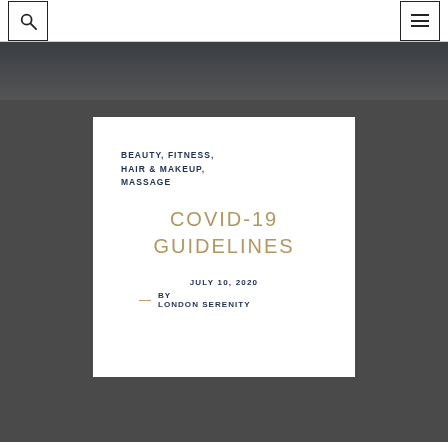Search | Menu
[Figure (screenshot): Dark grey hero background with a centered white card containing article metadata]
BEAUTY, FITNESS, HAIR & MAKEUP, MASSAGE
COVID-19 GUIDELINES
JULY 10, 2020 — BY LONDON SERENITY